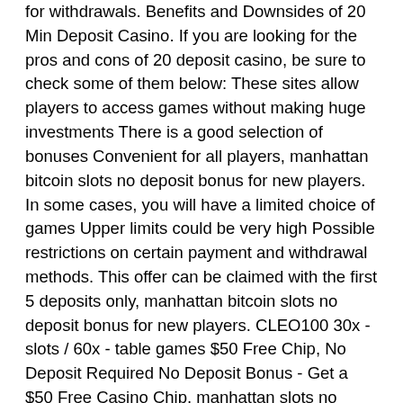for withdrawals. Benefits and Downsides of 20 Min Deposit Casino. If you are looking for the pros and cons of 20 deposit casino, be sure to check some of them below: These sites allow players to access games without making huge investments There is a good selection of bonuses Convenient for all players, manhattan bitcoin slots no deposit bonus for new players. In some cases, you will have a limited choice of games Upper limits could be very high Possible restrictions on certain payment and withdrawal methods. This offer can be claimed with the first 5 deposits only, manhattan bitcoin slots no deposit bonus for new players. CLEO100 30x - slots / 60x - table games $50 Free Chip, No Deposit Required No Deposit Bonus - Get a $50 Free Casino Chip, manhattan slots no deposit bonus code 2021. New promotions &amp; bonuses. How to beat video slot machines · real money virtual. Terms apply, gamble responsibly. 25